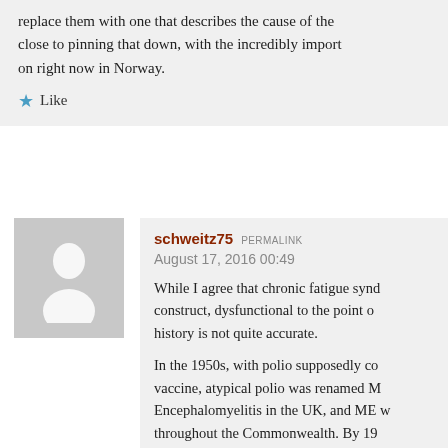replace them with one that describes the cause of the close to pinning that down, with the incredibly import on right now in Norway.
★ Like
[Figure (illustration): Gray square avatar placeholder with a white silhouette of a person (head and shoulders)]
schweitz75 PERMALINK
August 17, 2016 00:49
While I agree that chronic fatigue synd construct, dysfunctional to the point o history is not quite accurate.
In the 1950s, with polio supposedly co vaccine, atypical polio was renamed M Encephalomyelitis in the UK, and ME w throughout the Commonwealth. By 19 in neurology, and Melvin Ramsay publ it in 1968 and 1988.
But M.E. was never adopted in the US.